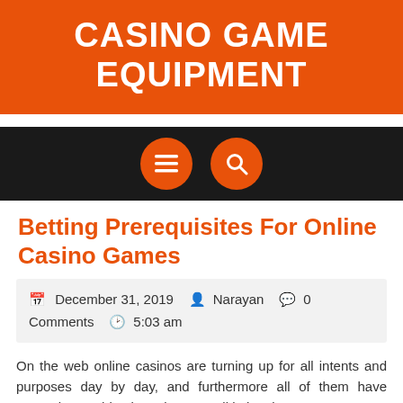CASINO GAME EQUIPMENT
[Figure (screenshot): Dark navigation bar with two circular orange buttons: a hamburger menu icon and a search icon]
Betting Prerequisites For Online Casino Games
December 31, 2019   Narayan   0 Comments   5:03 am
On the web online casinos are turning up for all intents and purposes day by day, and furthermore all of them have created something ingenious to pull in imminent